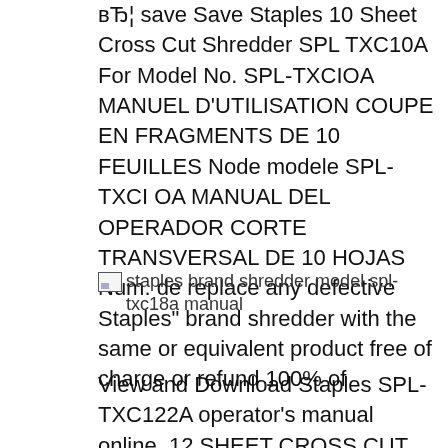вЂ¦ save Save Staples 10 Sheet Cross Cut Shredder SPL TXC10A For Model No. SPL-TXCIOA MANUEL D'UTILISATION COUPE EN FRAGMENTS DE 10 FEUILLES Node modele SPL-TXCI OA MANUAL DEL OPERADOR CORTE TRANSVERSAL DE 10 HOJAS Num. de replace any defective Staples" brand shredder with the same or equivalent product free of charge or refund 100% of
[Figure (other): Broken image placeholder with alt text: staples brand shredder model spl-txc18a manual]
View and Download Staples SPL-TXC122A operator's manual online. 12 SHEET CROSS CUT. Page 1 ENGLISH 12 SHEET CROSS CUT Model No. SPL